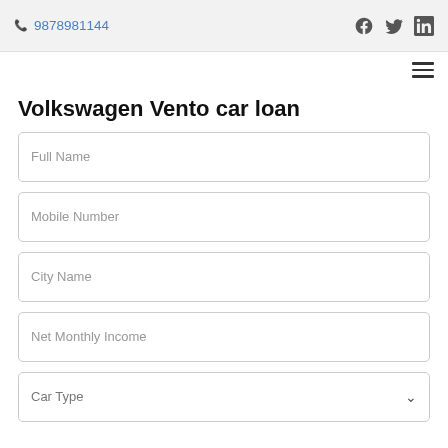📞 9878981144
Volkswagen Vento car loan
Full Name
Mobile Number
City Name
Net Monthly Income
Car Type